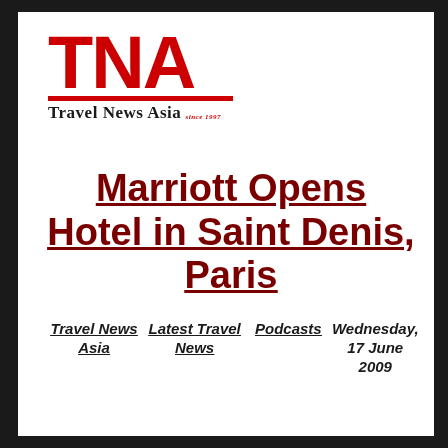[Figure (logo): TNA Travel News Asia logo with red TNA letters and red underline, tagline 'Travel News Asia since 1997']
Marriott Opens Hotel in Saint Denis, Paris
Travel News Asia   Latest Travel News   Podcasts   Wednesday, 17 June 2009